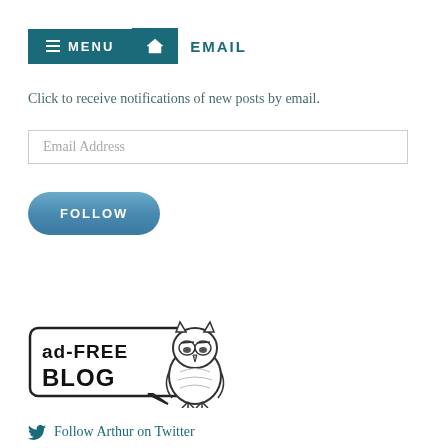MENU  EMAIL
Click to receive notifications of new posts by email.
Email Address
FOLLOW
[Figure (illustration): Ad-free blog badge with speech bubble shape containing text 'ad-FREE BLOG' in bold block letters]
[Figure (illustration): Small cartoon owl illustration in line art style]
Follow Arthur on Twitter